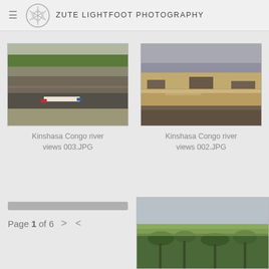Zute Lightfoot Photography
[Figure (photo): Kinshasa Congo river scene with boats, people, and rocky riverbank, green vegetation in background]
Kinshasa Congo river views 003.JPG
[Figure (photo): Kinshasa Congo river with turbulent brown water and rocky outcrops, hazy sky]
Kinshasa Congo river views 002.JPG
Page 1 of 6
[Figure (photo): Partial view of photo showing palm trees and sky]